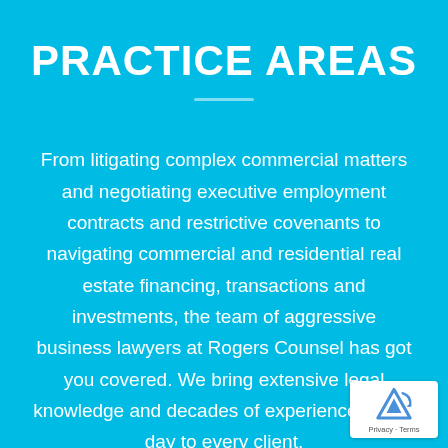PRACTICE AREAS
From litigating complex commercial matters and negotiating executive employment contracts and restrictive covenants to navigating commercial and residential real estate financing, transactions and investments, the team of aggressive business lawyers at Rogers Counsel has got you covered. We bring extensive legal knowledge and decades of experience, every day to every client.